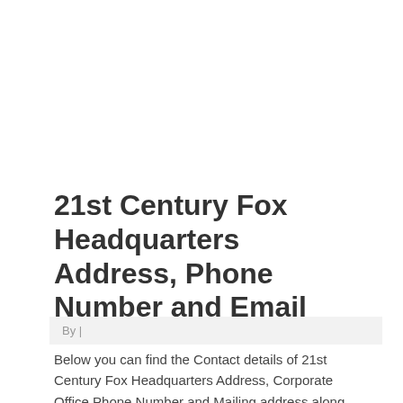21st Century Fox Headquarters Address, Phone Number and Email
By |
Below you can find the Contact details of 21st Century Fox Headquarters Address, Corporate Office Phone Number and Mailing address along with the contact information like the toll free phone number, Email, Postal Office